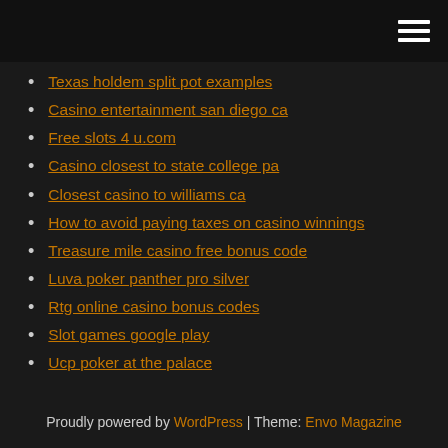Texas holdem split pot examples
Casino entertainment san diego ca
Free slots 4 u.com
Casino closest to state college pa
Closest casino to williams ca
How to avoid paying taxes on casino winnings
Treasure mile casino free bonus code
Luva poker panther pro silver
Rtg online casino bonus codes
Slot games google play
Ucp poker at the palace
Proudly powered by WordPress | Theme: Envo Magazine